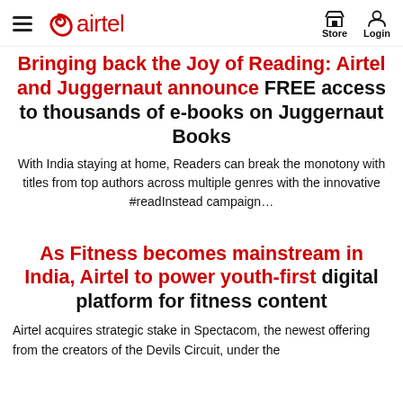airtel | Store | Login
Bringing back the Joy of Reading: Airtel and Juggernaut announce FREE access to thousands of e-books on Juggernaut Books
With India staying at home, Readers can break the monotony with titles from top authors across multiple genres with the innovative #readInstead campaign...
As Fitness becomes mainstream in India, Airtel to power youth-first digital platform for fitness content
Airtel acquires strategic stake in Spectacom, the newest offering from the creators of the Devils Circuit, under the